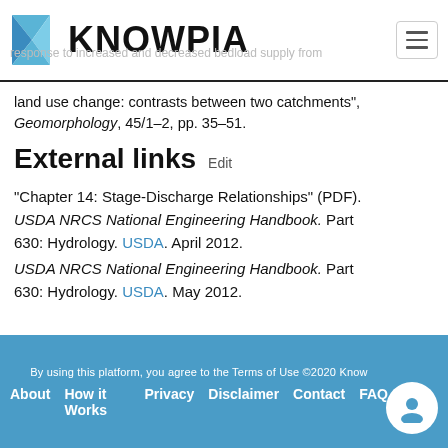KNOWPIA
land use change: contrasts between two catchments", Geomorphology, 45/1–2, pp. 35–51.
External links  Edit
"Chapter 14: Stage-Discharge Relationships" (PDF). USDA NRCS National Engineering Handbook. Part 630: Hydrology. USDA. April 2012.
USDA NRCS National Engineering Handbook. Part 630: Hydrology. USDA. May 2012.
By using this platform, you agree to the Terms of Use ©2020 Knowpia  About  How it Works  Privacy  Disclaimer  Contact  FAQ